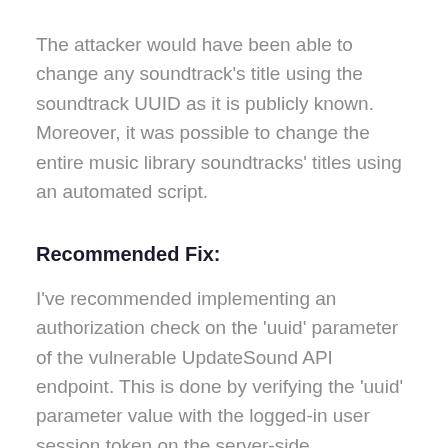The attacker would have been able to change any soundtrack's title using the soundtrack UUID as it is publicly known. Moreover, it was possible to change the entire music library soundtracks' titles using an automated script.
Recommended Fix:
I've recommended implementing an authorization check on the 'uuid' parameter of the vulnerable UpdateSound API endpoint. This is done by verifying the 'uuid' parameter value with the logged-in user session token on the server-side.